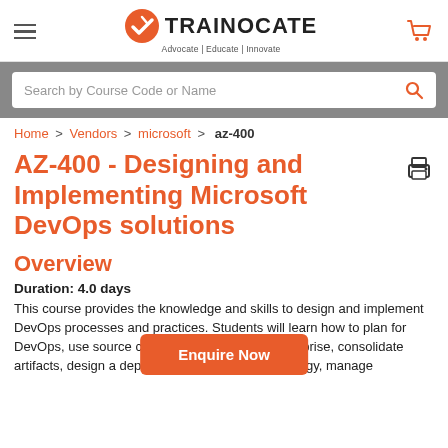TRAINOCATE — Advocate | Educate | Innovate
Search by Course Code or Name
Home > Vendors > microsoft > az-400
AZ-400 - Designing and Implementing Microsoft DevOps solutions
Overview
Duration: 4.0 days
This course provides the knowledge and skills to design and implement DevOps processes and practices. Students will learn how to plan for DevOps, use source control, scale Git for an enterprise, consolidate artifacts, design a dependency management strategy, manage